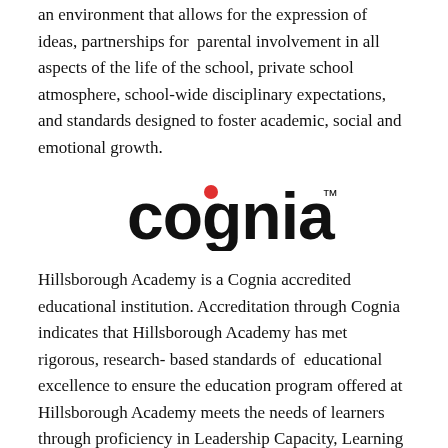an environment that allows for the expression of ideas, partnerships for parental involvement in all aspects of the life of the school, private school atmosphere, school-wide disciplinary expectations, and standards designed to foster academic, social and emotional growth.
[Figure (logo): Cognia logo — the word 'cognia' in bold black lowercase letters with a small red filled circle above the letter 'g', and a trademark symbol in superscript after the final letter]
Hillsborough Academy is a Cognia accredited educational institution. Accreditation through Cognia indicates that Hillsborough Academy has met rigorous, research- based standards of educational excellence to ensure the education program offered at Hillsborough Academy meets the needs of learners through proficiency in Leadership Capacity, Learning Capacity, and Resource Capacity. Using these standards, Hillsborough Academy targets areas in each domain for continuous improvement in creating student success.